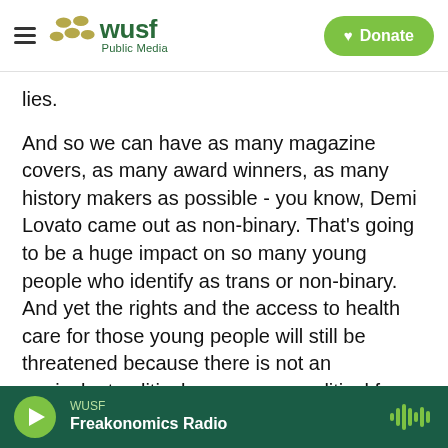WUSF Public Media — Donate
lies.
And so we can have as many magazine covers, as many award winners, as many history makers as possible - you know, Demi Lovato came out as non-binary. That's going to be a huge impact on so many young people who identify as trans or non-binary. And yet the rights and the access to health care for those young people will still be threatened because there is not an equivalent political presence or political force from our community that would help to protect these kids and would have as big an impact in policy as we do in culture.
WUSF — Freakonomics Radio